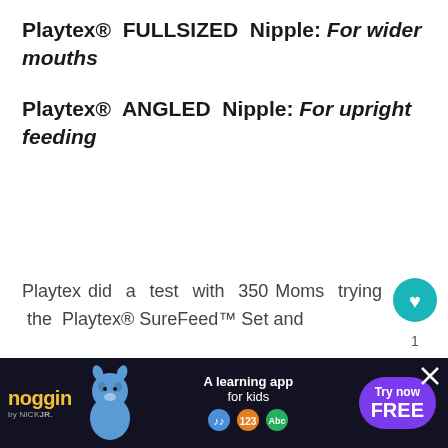Playtex® FULLSIZED Nipple: For wider mouths
Playtex® ANGLED Nipple: For upright feeding
Playtex did a test with 350 Moms trying the Playtex® SureFeed™ Set and
96% of Moms Found a nipple
[Figure (screenshot): Mobile app UI overlay with heart/like button showing count 1, and share button. Also shows a 'What's Next' card partially visible with '30 Days of Dinners:...' text.]
[Figure (photo): Noggin by Nick Jr. advertisement banner at bottom of screen featuring Blue's Clues dog character and 'Try now FREE' call to action button.]